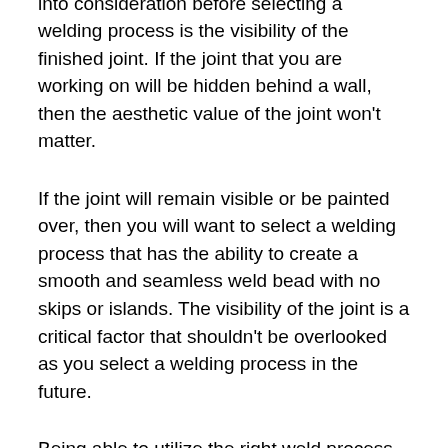Another important factor that must be taken into consideration before selecting a welding process is the visibility of the finished joint. If the joint that you are working on will be hidden behind a wall, then the aesthetic value of the joint won't matter.
If the joint will remain visible or be painted over, then you will want to select a welding process that has the ability to create a smooth and seamless weld bead with no skips or islands. The visibility of the joint is a critical factor that shouldn't be overlooked as you select a welding process in the future.
Being able to utilize the right weld process is important. You can easily gather information that can be used to make your final weld selection by looking at the depth, position, and visibility of the joint you will be working with.
Contact a local welding shop for more information and assistance.